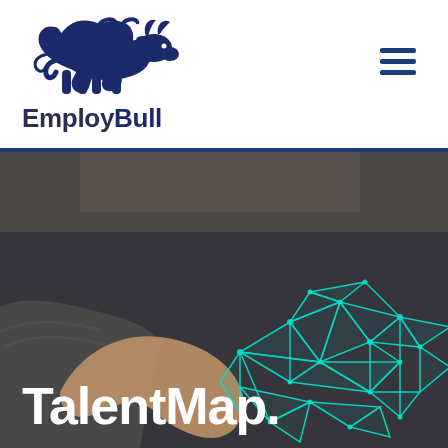[Figure (logo): EmployBull logo: a blue charging bull above the text EmployBull]
EmployBull
[Figure (photo): Hero image: a human hand shaking hands with a teal/cyan geometric wireframe digital hand, on a dark blurred background, with the text TalentMap. overlaid in bold white at the bottom.]